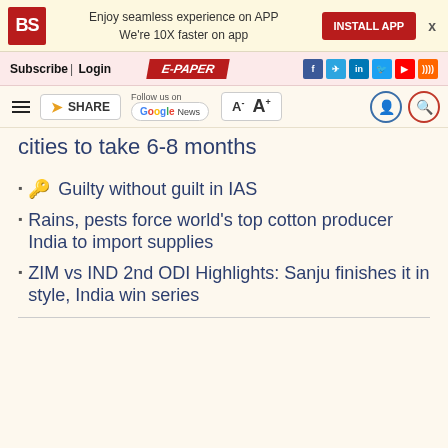[Figure (screenshot): Business Standard app install banner with BS logo, text 'Enjoy seamless experience on APP We're 10X faster on app', and INSTALL APP button]
Subscribe| Login   E-PAPER
[Figure (screenshot): Toolbar with hamburger menu, SHARE button, Follow us on Google News, font size controls A- A+, user and search icons]
cities to take 6-8 months
Guilty without guilt in IAS
Rains, pests force world's top cotton producer India to import supplies
ZIM vs IND 2nd ODI Highlights: Sanju finishes it in style, India win series